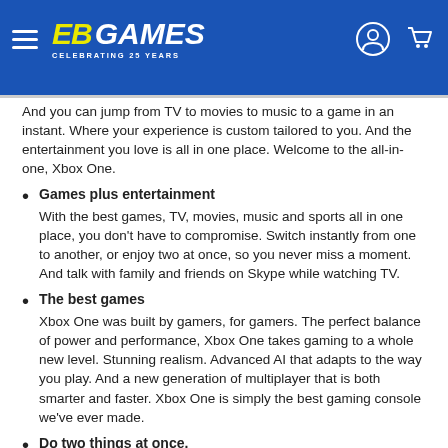EB Games — Celebrating 25 Years
And you can jump from TV to movies to music to a game in an instant. Where your experience is custom tailored to you. And the entertainment you love is all in one place. Welcome to the all-in-one, Xbox One.
Games plus entertainment — With the best games, TV, movies, music and sports all in one place, you don't have to compromise. Switch instantly from one to another, or enjoy two at once, so you never miss a moment. And talk with family and friends on Skype while watching TV.
The best games — Xbox One was built by gamers, for gamers. The perfect balance of power and performance, Xbox One takes gaming to a whole new level. Stunning realism. Advanced AI that adapts to the way you play. And a new generation of multiplayer that is both smarter and faster. Xbox One is simply the best gaming console we've ever made.
Do two things at once. — Why choose between two things you love when you can do both at the same time? Xbox One lets you quickly jump from TV to a movie to a game. And then snap them side by side to do two things simultaneously. Music and games. Skype voice calls and live sports. Split your